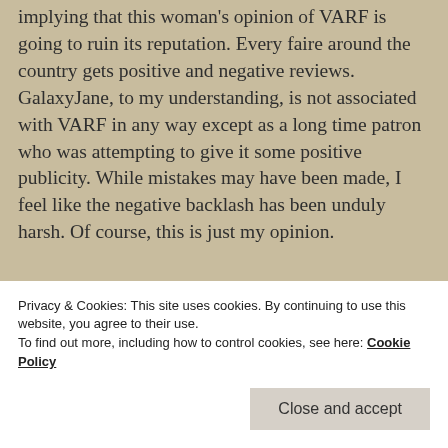implying that this woman's opinion of VARF is going to ruin its reputation. Every faire around the country gets positive and negative reviews. GalaxyJane, to my understanding, is not associated with VARF in any way except as a long time patron who was attempting to give it some positive publicity. While mistakes may have been made, I feel like the negative backlash has been unduly harsh. Of course, this is just my opinion.
★ Like
REPLY
Privacy & Cookies: This site uses cookies. By continuing to use this website, you agree to their use. To find out more, including how to control cookies, see here: Cookie Policy
Close and accept